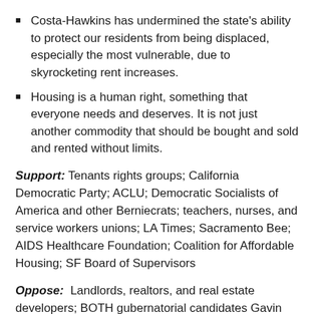Costa-Hawkins has undermined the state's ability to protect our residents from being displaced, especially the most vulnerable, due to skyrocketing rent increases.
Housing is a human right, something that everyone needs and deserves. It is not just another commodity that should be bought and sold and rented without limits.
Support: Tenants rights groups; California Democratic Party; ACLU; Democratic Socialists of America and other Berniecrats; teachers, nurses, and service workers unions; LA Times; Sacramento Bee; AIDS Healthcare Foundation; Coalition for Affordable Housing; SF Board of Supervisors
Oppose: Landlords, realtors, and real estate developers; BOTH gubernatorial candidates Gavin Newsom (D) and John Cox (R); SF Chronicle; Fresno Bee, Mercury News